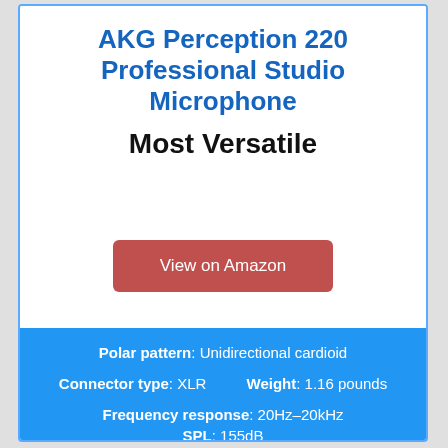AKG Perception 220 Professional Studio Microphone
Most Versatile
View on Amazon
Polar pattern: Unidirectional cardioid
Connector type: XLR    Weight: 1.16 pounds
Frequency response: 20Hz–20kHz    SPL: 155dB